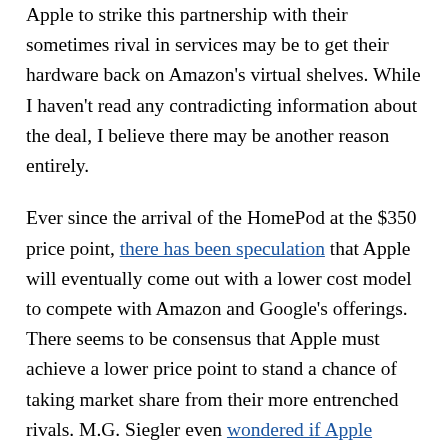Apple to strike this partnership with their sometimes rival in services may be to get their hardware back on Amazon's virtual shelves. While I haven't read any contradicting information about the deal, I believe there may be another reason entirely.
Ever since the arrival of the HomePod at the $350 price point, there has been speculation that Apple will eventually come out with a lower cost model to compete with Amazon and Google's offerings. There seems to be consensus that Apple must achieve a lower price point to stand a chance of taking market share from their more entrenched rivals. M.G. Siegler even wondered if Apple might not be trying to compete with Amazon at all with their HomePod. I'm no tech pundit, but looking at the history of Apple reveals they don't always offer a lower-cost